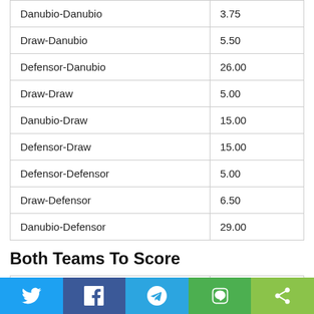| Outcome | Odds |
| --- | --- |
| Danubio-Danubio | 3.75 |
| Draw-Danubio | 5.50 |
| Defensor-Danubio | 26.00 |
| Draw-Draw | 5.00 |
| Danubio-Draw | 15.00 |
| Defensor-Draw | 15.00 |
| Defensor-Defensor | 5.00 |
| Draw-Defensor | 6.50 |
| Danubio-Defensor | 29.00 |
Both Teams To Score
| Outcome | Odds |
| --- | --- |
| BTTS No | 1.83 |